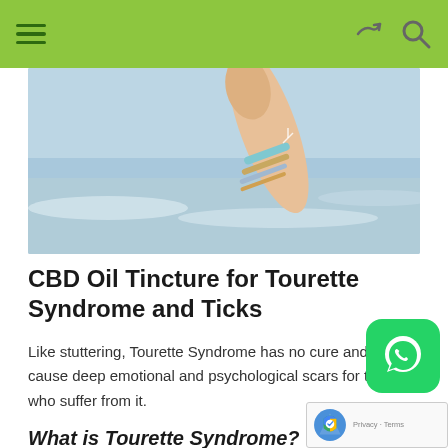Navigation bar with hamburger menu, share icon, and search icon
[Figure (photo): A raised hand and wrist adorned with colorful bracelets against a beach/ocean background with blue sky]
CBD Oil Tincture for Tourette Syndrome and Ticks
Like stuttering, Tourette Syndrome has no cure and can cause deep emotional and psychological scars for those who suffer from it.
What is Tourette Syndrome?
Tourette Syndrome is a type of tic disorder. Tics are defined as  involuntary, repetitive movements and vocalizations of motor neurons, known as tics for children,